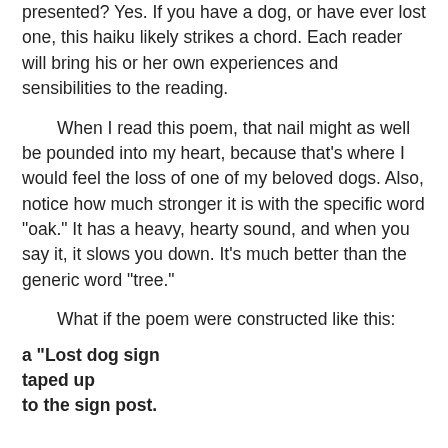presented? Yes. If you have a dog, or have ever lost one, this haiku likely strikes a chord. Each reader will bring his or her own experiences and sensibilities to the reading.
When I read this poem, that nail might as well be pounded into my heart, because that's where I would feel the loss of one of my beloved dogs. Also, notice how much stronger it is with the specific word "oak." It has a heavy, hearty sound, and when you say it, it slows you down. It's much better than the generic word "tree."
What if the poem were constructed like this:
a "Lost dog sign
taped up
to the sign post.